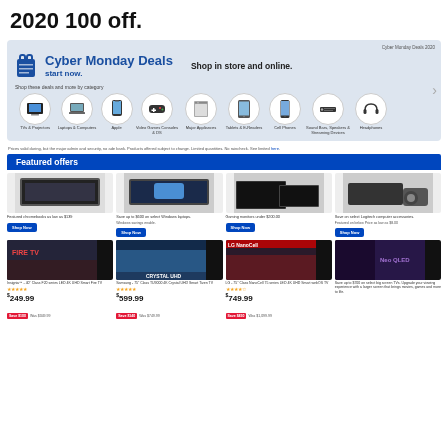2020 100 off.
[Figure (screenshot): Best Buy Cyber Monday Deals banner with shopping bag icon, category icons for TVs, Laptops, Apple, Video Games, Major Appliances, Tablets, Cell Phones, Sound Bars, Headphones]
Prices valid during, but the major admin and security, no ade bank. Products offered subject to change. Limited quantities. No raincheck. See limited here.
Featured offers
[Figure (screenshot): Featured chromebooks as low as $139]
[Figure (screenshot): Save up to $600 on select Windows laptops. Windows savings enable.]
[Figure (screenshot): Gaming monitors under $200.00]
[Figure (screenshot): Save on select Logitech computer accessories. Featured on below Price as low as $8.00]
[Figure (screenshot): Insignia 40 Class F20 series LED 4K UHD Smart Fire TV - $249.99, Save $100, Was $349.99]
[Figure (screenshot): Samsung 75 Class TU9000 4K Crystal UHD Smart Tizen TV - $599.99, Save $140, Was $749.99]
[Figure (screenshot): LG 75 Class NanoCell 75 series LED 4K UHD Smart webOS TV - $749.99, Save $450, Was $1,099.99]
[Figure (screenshot): Save up to $700 on select big screen TVs. Upgrade your viewing experience with a larger screen that brings movies, games and more to life.]